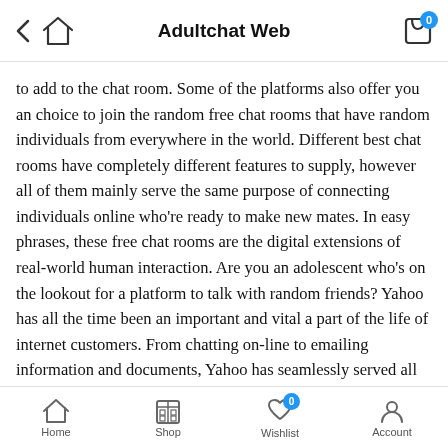Adultchat Web
to add to the chat room. Some of the platforms also offer you an choice to join the random free chat rooms that have random individuals from everywhere in the world. Different best chat rooms have completely different features to supply, however all of them mainly serve the same purpose of connecting individuals online who're ready to make new mates. In easy phrases, these free chat rooms are the digital extensions of real-world human interaction. Are you an adolescent who's on the lookout for a platform to talk with random friends? Yahoo has all the time been an important and vital a part of the life of internet customers. From chatting on-line to emailing information and documents, Yahoo has seamlessly served all the purposes that it has been created for.
What Are Online Chat R…
Home  Shop  Wishlist  Account